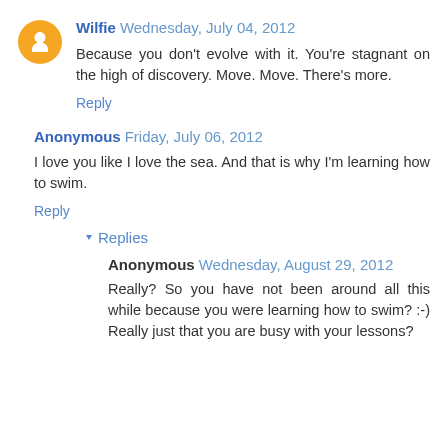Wilfie Wednesday, July 04, 2012
Because you don't evolve with it. You're stagnant on the high of discovery. Move. Move. There's more.
Reply
Anonymous Friday, July 06, 2012
I love you like I love the sea. And that is why I'm learning how to swim.
Reply
Replies
Anonymous Wednesday, August 29, 2012
Really? So you have not been around all this while because you were learning how to swim? :-) Really just that you are busy with your lessons?